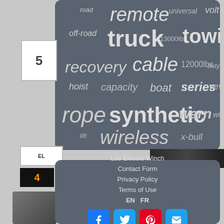[Figure (infographic): Word cloud on dark gray card with winch-related keywords in varying sizes: road, remote, universal, volt, off-road, truck, 13000lbs, towing, recovery, cable, 12000lbs, duty, hoist, capacity, boat, series, vevor, rope, synthetic, warn, wire, lift, wireless, x-bull]
Lbs Electric Winch
Contact Form
Privacy Policy
Terms of Use
EN  FR
[Figure (infographic): Social media buttons: Facebook (blue), Twitter (blue), Pinterest (red), Email (blue)]